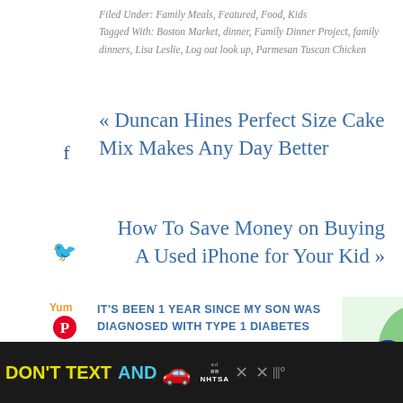Filed Under: Family Meals, Featured, Food, Kids
Tagged With: Boston Market, dinner, Family Dinner Project, family dinners, Lisa Leslie, Log out look up, Parmesan Tuscan Chicken
« Duncan Hines Perfect Size Cake Mix Makes Any Day Better
How To Save Money on Buying A Used iPhone for Your Kid »
IT'S BEEN 1 YEAR SINCE MY SON WAS DIAGNOSED WITH TYPE 1 DIABETES
0 SHARES
[Figure (photo): Colorful flip flops and camp gear laid out with name labels]
[Figure (photo): Person at a restaurant or bar scene]
[Figure (screenshot): Advertisement banner: DON'T TEXT AND [car emoji] with NHTSA logo]